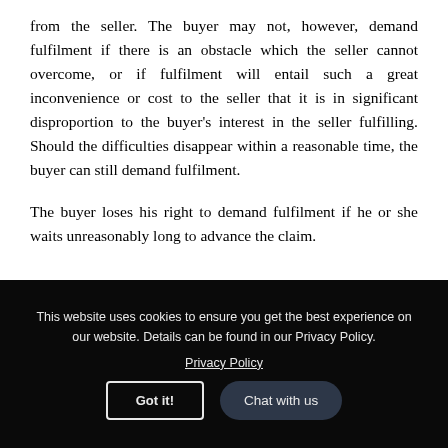from the seller. The buyer may not, however, demand fulfilment if there is an obstacle which the seller cannot overcome, or if fulfilment will entail such a great inconvenience or cost to the seller that it is in significant disproportion to the buyer's interest in the seller fulfilling. Should the difficulties disappear within a reasonable time, the buyer can still demand fulfilment.
The buyer loses his right to demand fulfilment if he or she waits unreasonably long to advance the claim.
CANCELLATION OF PURCHASES
This website uses cookies to ensure you get the best experience on our website. Details can be found in our Privacy Policy.
Privacy Policy
Got it!
Chat with us